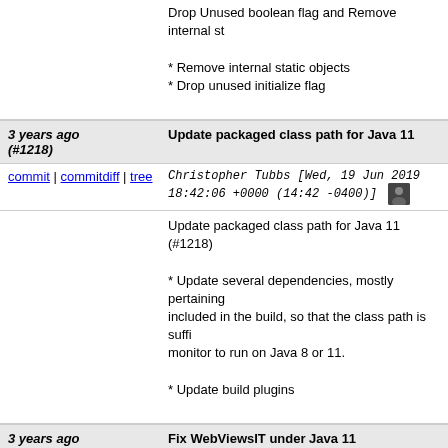Drop Unused boolean flag and Remove internal st...
* Remove internal static objects
* Drop unused initialize flag
3 years ago (#1218)  |  Update packaged class path for Java 11
commit | commitdiff | tree    Christopher Tubbs [Wed, 19 Jun 2019 18:42:06 +0000 (14:42 -0400)]
Update packaged class path for Java 11 (#1218)

* Update several dependencies, mostly pertaining... included in the build, so that the class path is suffi... monitor to run on Java 8 or 11.

* Update build plugins
3 years ago  |  Fix WebViewsIT under Java 11
commit | commitdiff | tree    Christopher Tubbs [Mon, 17 Jun 2019 07:40:07 +0000 (03:40 -0400)]
Fix WebViewsIT under Java 11
3 years ago  |  Remove unnecessary warnings suppressions